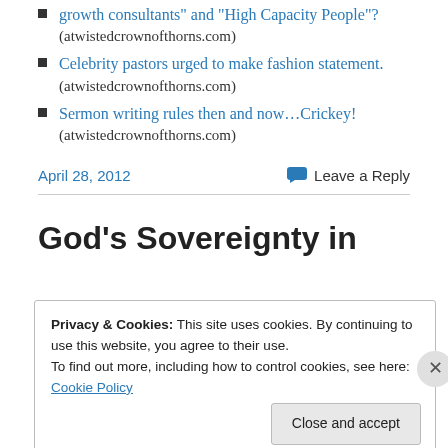growth consultants” and “High Capacity People”? (atwistedcrownofthorns.com)
Celebrity pastors urged to make fashion statement. (atwistedcrownofthorns.com)
Sermon writing rules then and now…Crickey! (atwistedcrownofthorns.com)
April 28, 2012
Leave a Reply
God’s Sovereignty in
Privacy & Cookies: This site uses cookies. By continuing to use this website, you agree to their use.
To find out more, including how to control cookies, see here: Cookie Policy
Close and accept